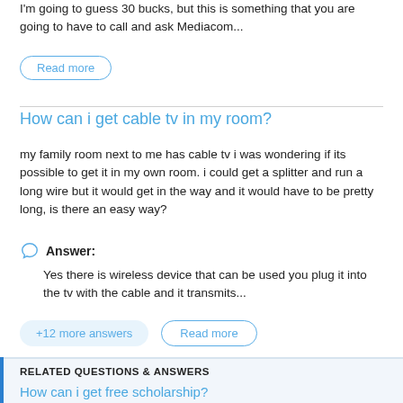I'm going to guess 30 bucks, but this is something that you are going to have to call and ask Mediacom...
Read more
How can i get cable tv in my room?
my family room next to me has cable tv i was wondering if its possible to get it in my own room. i could get a splitter and run a long wire but it would get in the way and it would have to be pretty long, is there an easy way?
Answer: Yes there is wireless device that can be used you plug it into the tv with the cable and it transmits...
+12 more answers
Read more
RELATED QUESTIONS & ANSWERS
How can i get free scholarship?